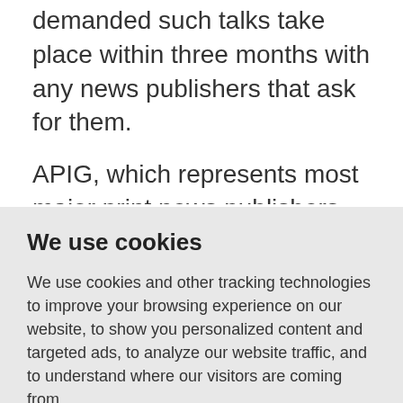demanded such talks take place within three months with any news publishers that ask for them.
APIG, which represents most major print news publishers (Le Figaro, Le Monde etc.), remains one of the plaintiffs, in spite of having signed a framework agreement, since it has been put on hold pending
We use cookies
We use cookies and other tracking technologies to improve your browsing experience on our website, to show you personalized content and targeted ads, to analyze our website traffic, and to understand where our visitors are coming from.